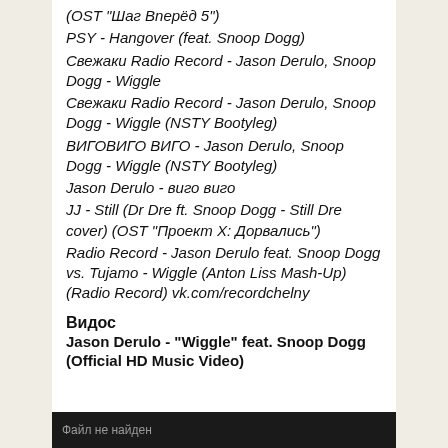(OST "Шаг Вперёд 5")
PSY - Hangover (feat. Snoop Dogg)
Свежаки Radio Record - Jason Derulo, Snoop Dogg - Wiggle
Свежаки Radio Record - Jason Derulo, Snoop Dogg - Wiggle (NSTY Bootyleg)
ВИГОВИГО ВИГО - Jason Derulo, Snoop Dogg - Wiggle (NSTY Bootyleg)
Jason Derulo - виго виго
JJ - Still (Dr Dre ft. Snoop Dogg - Still Dre cover) (OST "Проект X: Дорвались")
Radio Record - Jason Derulo feat. Snoop Dogg vs. Tujamo - Wiggle (Anton Liss Mash-Up) (Radio Record) vk.com/recordchelny
Видос
Jason Derulo - "Wiggle" feat. Snoop Dogg (Official HD Music Video)
Файл не найден